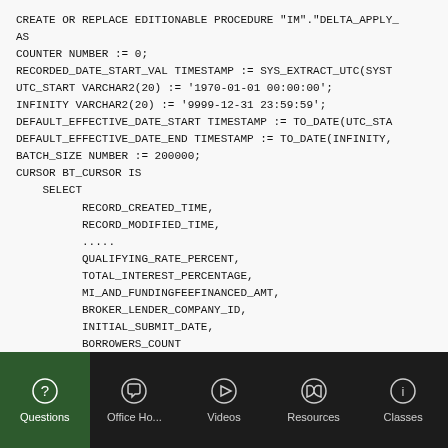CREATE OR REPLACE EDITIONABLE PROCEDURE "IM"."DELTA_APPLY_
AS
COUNTER NUMBER := 0;
RECORDED_DATE_START_VAL TIMESTAMP := SYS_EXTRACT_UTC(SYST
UTC_START VARCHAR2(20) := '1970-01-01 00:00:00';
INFINITY VARCHAR2(20) := '9999-12-31 23:59:59';
DEFAULT_EFFECTIVE_DATE_START TIMESTAMP := TO_DATE(UTC_STA
DEFAULT_EFFECTIVE_DATE_END TIMESTAMP := TO_DATE(INFINITY,
BATCH_SIZE NUMBER := 200000;
CURSOR BT_CURSOR IS
    SELECT
        RECORD_CREATED_TIME,
        RECORD_MODIFIED_TIME,
        .....
        QUALIFYING_RATE_PERCENT,
        TOTAL_INTEREST_PERCENTAGE,
        MI_AND_FUNDINGFEEFINANCED_AMT,
        BROKER_LENDER_COMPANY_ID,
        INITIAL_SUBMIT_DATE,
        BORROWERS_COUNT
    FROM
        IM.IA_LOAN_RAW_STAGE
    MINUS
Questions | Office Ho... | Videos | Resources | Classes